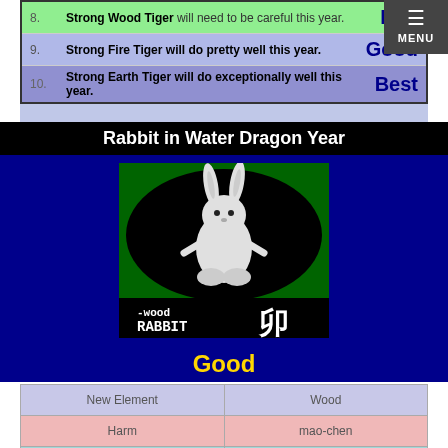| # | Description | Rating |
| --- | --- | --- |
| 8. | Strong Wood Tiger will need to be careful this year. | Bad |
| 9. | Strong Fire Tiger will do pretty well this year. | Good |
| 10. | Strong Earth Tiger will do exceptionally well this year. | Best |
Rabbit in Water Dragon Year
[Figure (illustration): Wood Rabbit illustration: rabbit in black oval on green background, with '-wood RABBIT' text and Chinese characters below]
Good
| Label | Value |
| --- | --- |
| New Element | Wood |
| Harm | mao-chen |
| Nobleman Star | Mao & Si |
| Hidden Element 1 | yi
yin Wood |